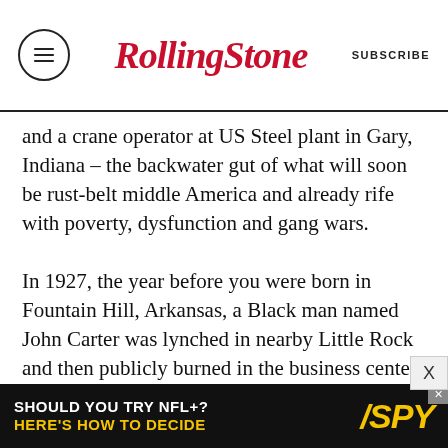RollingStone — SUBSCRIBE
and a crane operator at US Steel plant in Gary, Indiana – the backwater gut of what will soon be rust-belt middle America and already rife with poverty, dysfunction and gang wars.

In 1927, the year before you were born in Fountain Hill, Arkansas, a Black man named John Carter was lynched in nearby Little Rock and then publicly burned in the business center of the city's Black section. Seven years earlier and 200 miles away, a thriving portion of Tulsa, Oklahoma, known as Black Wall Street was incinerated by a genocidal mob composed of the nation's pale-skinned, race-psychotic majority, and aerially fi...
[Figure (infographic): Advertisement banner: 'SHOULD YOU TRY NFL+? HERE'S HOW TO DECIDE' with SPY logo on black/yellow background]